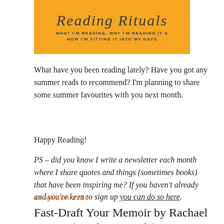[Figure (illustration): Yellow/orange banner with cursive title 'Reading Rituals' and subtitle 'WHAT I'M READING, WHY I'M READING IT & HOW I'M FITTING IT INTO MY DAYS']
What have you been reading lately? Have you got any summer reads to recommend? I'm planning to share some summer favourites with you next month.
Happy Reading!
PS – did you know I write a newsletter each month where I share quotes and things (sometimes books) that have been inspiring me? If you haven't already and you're keen to sign up you can do so here.
12 MARCH 2019
Fast-Draft Your Memoir by Rachael Herron (Reading Rituals)